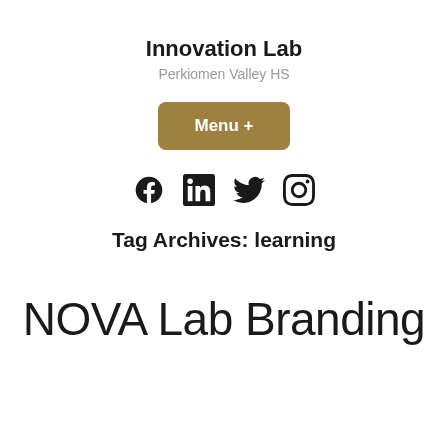Innovation Lab
Perkiomen Valley HS
[Figure (other): Menu + button (gold/dark-yellow rounded rectangle)]
[Figure (other): Social media icons: Facebook, LinkedIn, Twitter, Instagram]
Tag Archives: learning
NOVA Lab Branding